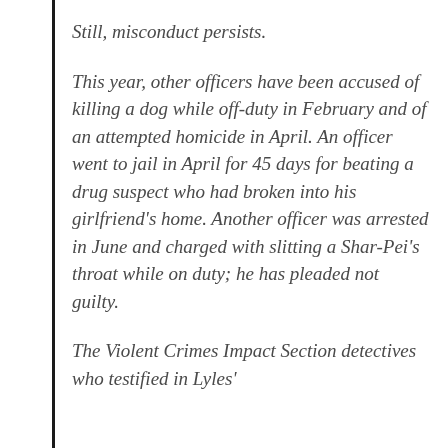Still, misconduct persists.
This year, other officers have been accused of killing a dog while off-duty in February and of an attempted homicide in April. An officer went to jail in April for 45 days for beating a drug suspect who had broken into his girlfriend’s home. Another officer was arrested in June and charged with slitting a Shar-Pei’s throat while on duty; he has pleaded not guilty.
The Violent Crimes Impact Section detectives who testified in Lyles’